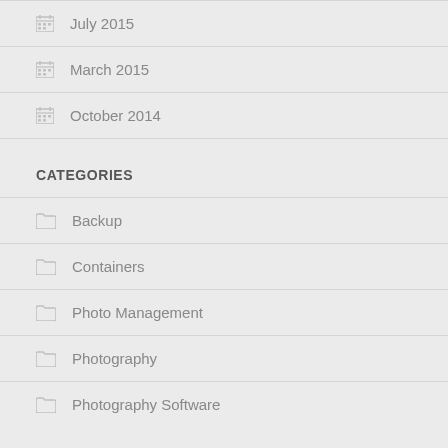July 2015
March 2015
October 2014
CATEGORIES
Backup
Containers
Photo Management
Photography
Photography Software